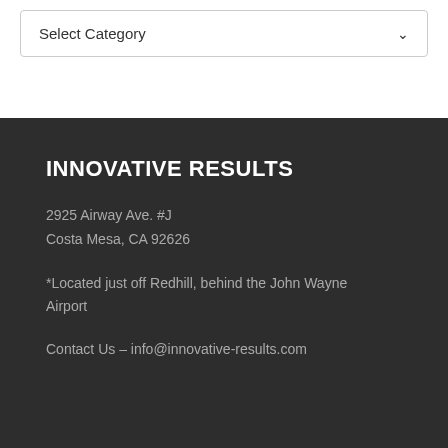[Figure (other): A dropdown/select UI element with label 'Select Category' and a down-arrow chevron on the right, inside a bordered box]
INNOVATIVE RESULTS
2925 Airway Ave. #J
Costa Mesa, CA 92626
*Located just off Redhill, behind the John Wayne Airport
Contact Us – info@innovative-results.com